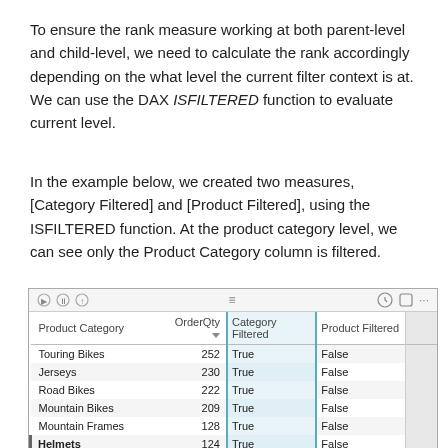To ensure the rank measure working at both parent-level and child-level, we need to calculate the rank accordingly depending on the what level the current filter context is at. We can use the DAX ISFILTERED function to evaluate current level.
In the example below, we created two measures, [Category Filtered] and [Product Filtered], using the ISFILTERED function. At the product category level, we can see only the Product Category column is filtered.
[Figure (screenshot): A Power BI table visual showing columns: Product Category, OrderQty, Category Filtered, Product Filtered. Rows include Touring Bikes (252, True, False), Jerseys (230, True, False), Road Bikes (222, True, False), Mountain Bikes (209, True, False), Mountain Frames (128, True, False), Helmets (124, True, False), Vests (121, True, False). The Category Filtered column is highlighted with a blue border.]